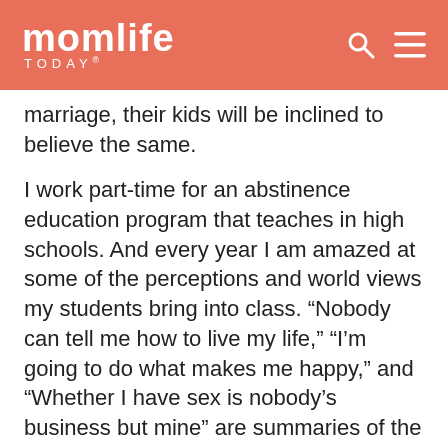momlife TODAY
marriage, their kids will be inclined to believe the same.
I work part-time for an abstinence education program that teaches in high schools. And every year I am amazed at some of the perceptions and world views my students bring into class. “Nobody can tell me how to live my life,” “I’m going to do what makes me happy,” and “Whether I have sex is nobody’s business but mine” are summaries of the comments I get on their anonymous first-day-of-class evaluations. Of course, I go on to teach them about the physical and emotional consequences of sex before marriage. I tell them about the STDs; the high rate of teen pregnancies; and the guilt, regret, and lowered self-esteem.